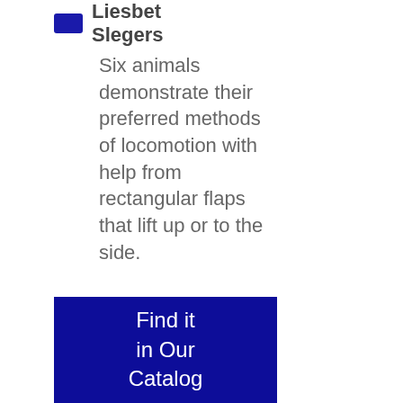Liesbet Slegers
Six animals demonstrate their preferred methods of locomotion with help from rectangular flaps that lift up or to the side.
Find it in Our Catalog